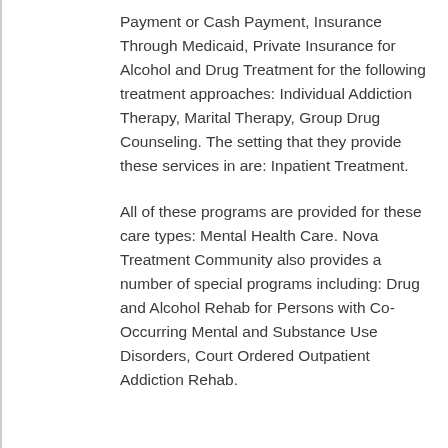Payment or Cash Payment, Insurance Through Medicaid, Private Insurance for Alcohol and Drug Treatment for the following treatment approaches: Individual Addiction Therapy, Marital Therapy, Group Drug Counseling. The setting that they provide these services in are: Inpatient Treatment.
All of these programs are provided for these care types: Mental Health Care. Nova Treatment Community also provides a number of special programs including: Drug and Alcohol Rehab for Persons with Co-Occurring Mental and Substance Use Disorders, Court Ordered Outpatient Addiction Rehab.